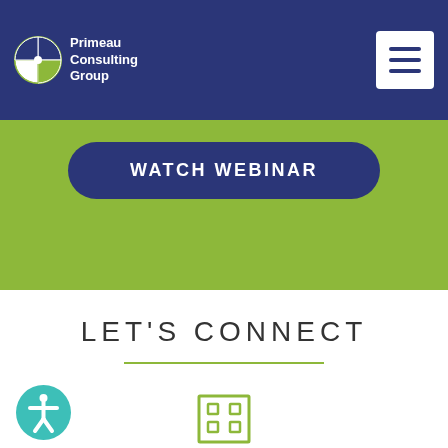Primeau Consulting Group
WATCH WEBINAR
LET'S CONNECT
[Figure (illustration): Building/office icon in olive green color above OUR COMPANY label]
[Figure (illustration): Accessibility icon - teal circle with person figure]
OUR COMPANY